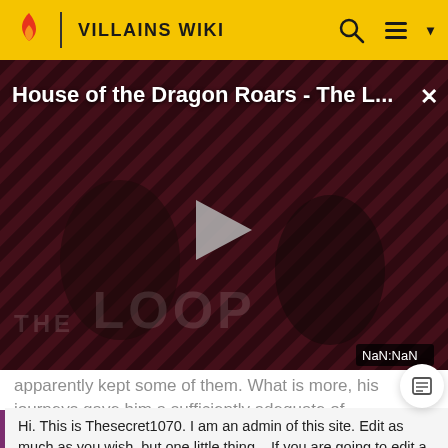VILLAINS WIKI
[Figure (screenshot): Video thumbnail for 'House of the Dragon Roars - The L...' with diagonal red and dark striped background, a play button in the center, 'THE LOOP' text watermark, two people visible in background, and NaN:NaN timestamp. Close button (×) in top right.]
apparently kept some of them. What is more, his journeys gave him a sufficiently adequate of
Hi. This is Thesecret1070. I am an admin of this site. Edit as much as you wish, but one little thing... If you are going to edit a lot, then make yourself a user and login. Other than that, enjoy Villains Wiki!!!